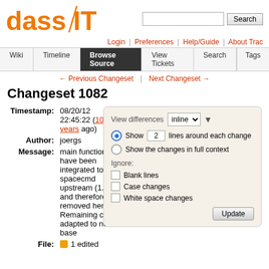[Figure (logo): dass IT logo with orange text and diagonal slash]
Login | Preferences | Help/Guide | About Trac
Wiki | Timeline | Browse Source | View Tickets | Search | Tags
← Previous Changeset | Next Changeset →
Changeset 1082
Timestamp: 08/20/12 22:45:22 (10 years ago)
Author: joergs
Message: main function have been integrated to spacecmd upstream (1.8) and therefore removed here. Remaining code adapted to new code base
File: 1 edited
[Figure (screenshot): View differences panel with inline dropdown, Show 2 lines around each change radio, Show the changes in full context radio, Ignore checkboxes for Blank lines/Case changes/White space changes, Update button]